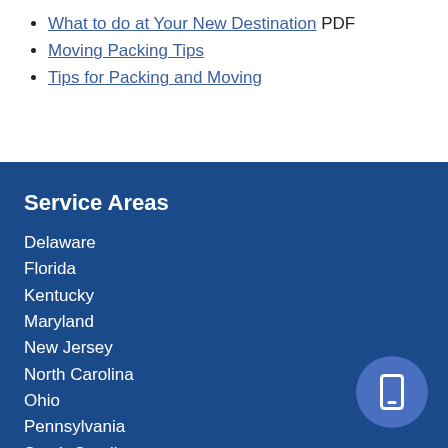What to do at Your New Destination PDF
Moving Packing Tips
Tips for Packing and Moving
Service Areas
Delaware
Florida
Kentucky
Maryland
New Jersey
North Carolina
Ohio
Pennsylvania
South Carolina